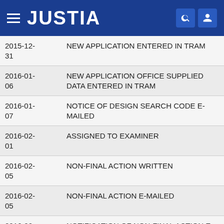JUSTIA
| Date | Event |
| --- | --- |
| 2015-12-31 | NEW APPLICATION ENTERED IN TRAM |
| 2016-01-06 | NEW APPLICATION OFFICE SUPPLIED DATA ENTERED IN TRAM |
| 2016-01-07 | NOTICE OF DESIGN SEARCH CODE E-MAILED |
| 2016-02-01 | ASSIGNED TO EXAMINER |
| 2016-02-05 | NON-FINAL ACTION WRITTEN |
| 2016-02-05 | NON-FINAL ACTION E-MAILED |
| 2016-02-05 | NOTIFICATION OF NON-FINAL ACTION E-MAILED |
| 2016-02- | TEAS RESPONSE TO OFFICE ACTION RECEIVED |